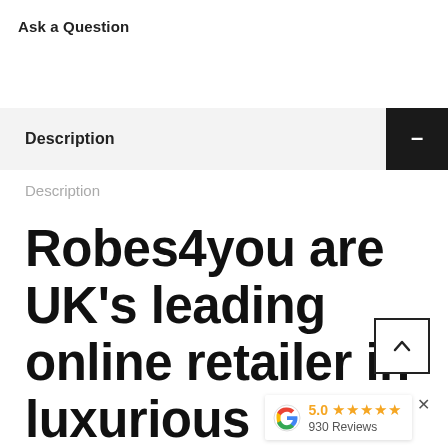Ask a Question
Description
Description
Robes4you are UK's leading online retailer in luxurious personalised gifts. We are a fami